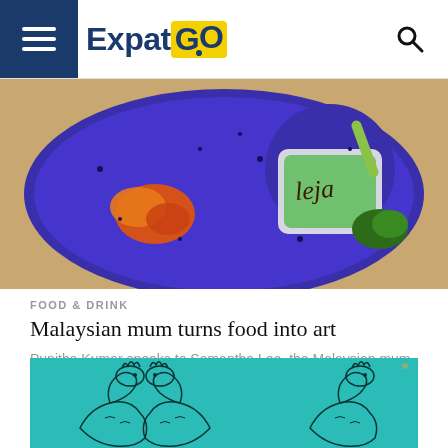ExpatGO
[Figure (photo): Overhead photo of a blue plate with food including dipping sauces and a green smoothie cup with 'Leja' written in chocolate sauce, garnished with herbs.]
FOOD & DRINK
Malaysian mum turns food into art
Punitha Kumar speaks to Samantha Lee, the Malaysian mum who makes works of art out of the food she creates for her...
[Figure (illustration): Teal/turquoise background with black line art illustrations of ornate dragon or mythical serpent figures facing each other.]